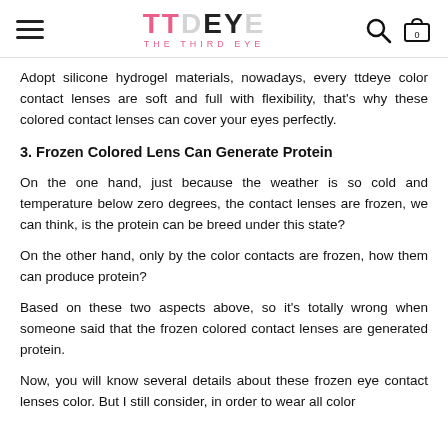TTDEYE THE THIRD EYE
Adopt silicone hydrogel materials, nowadays, every ttdeye color contact lenses are soft and full with flexibility, that's why these colored contact lenses can cover your eyes perfectly.
3. Frozen Colored Lens Can Generate Protein
On the one hand, just because the weather is so cold and temperature below zero degrees, the contact lenses are frozen, we can think, is the protein can be breed under this state?
On the other hand, only by the color contacts are frozen, how them can produce protein?
Based on these two aspects above, so it's totally wrong when someone said that the frozen colored contact lenses are generated protein.
Now, you will know several details about these frozen eye contact lenses color. But I still consider, in order to wear all color